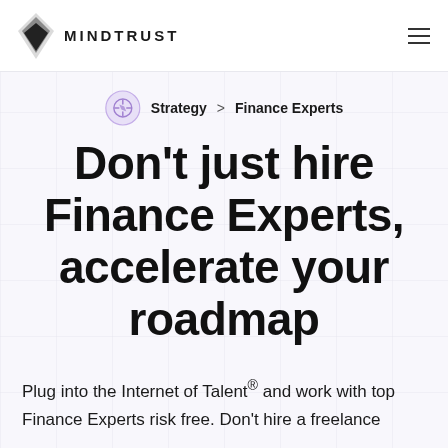MINDTRUST
Strategy > Finance Experts
Don't just hire Finance Experts, accelerate your roadmap
Plug into the Internet of Talent® and work with top Finance Experts risk free. Don't hire a freelance